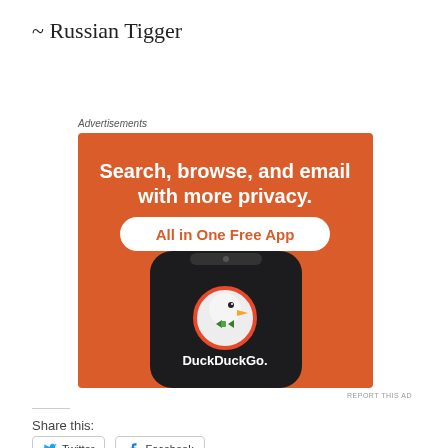~ Russian Tigger
[Figure (screenshot): DuckDuckGo advertisement banner. Orange background. Text: 'Search, browse, and email with more privacy. All in One Free App'. Shows a smartphone with DuckDuckGo logo and app name.]
REPORT THIS AD
Share this:
Twitter
Facebook